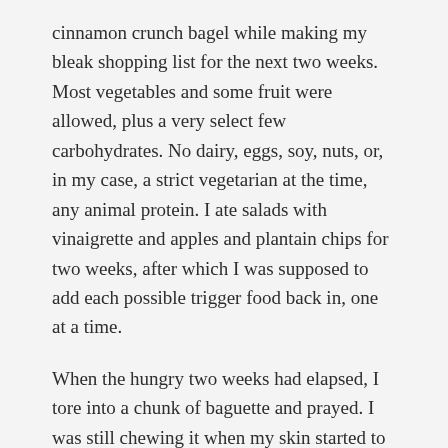cinnamon crunch bagel while making my bleak shopping list for the next two weeks. Most vegetables and some fruit were allowed, plus a very select few carbohydrates. No dairy, eggs, soy, nuts, or, in my case, a strict vegetarian at the time, any animal protein. I ate salads with vinaigrette and apples and plantain chips for two weeks, after which I was supposed to add each possible trigger food back in, one at a time.
When the hungry two weeks had elapsed, I tore into a chunk of baguette and prayed. I was still chewing it when my skin started to itch and my stomach churned. I threw the rest of the hunk of delicious gluten across the room and cried. That was it. I didn't need to go on with the trial. Indeed, I felt no reaction to the dairy, eggs, soy, or nuts. Just the bread.